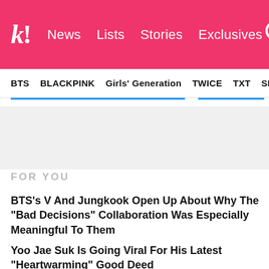k! News Lists Stories Exclusives
BTS  BLACKPINK  Girls' Generation  TWICE  TXT  SEVE
FOR YOU
BTS's V And Jungkook Open Up About Why The "Bad Decisions" Collaboration Was Especially Meaningful To Them
Yoo Jae Suk Is Going Viral For His Latest "Heartwarming" Good Deed
NewJeans' Danielle And Minji Spill On What It Was Like To Dance With ENHYPEN's Sunoo And Ni-Ki
"Extraordinary Attorney Woo" Confirms Production Of Season 2